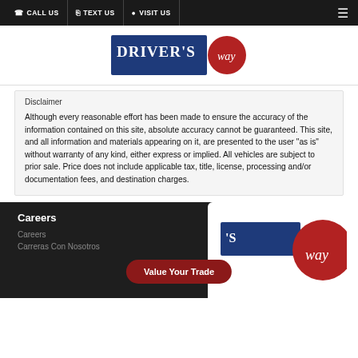CALL US  TEXT US  VISIT US
[Figure (logo): Driver's Way logo with blue rectangle and red circular emblem]
Disclaimer
Although every reasonable effort has been made to ensure the accuracy of the information contained on this site, absolute accuracy cannot be guaranteed. This site, and all information and materials appearing on it, are presented to the user "as is" without warranty of any kind, either express or implied. All vehicles are subject to prior sale. Price does not include applicable tax, title, license, processing and/or documentation fees, and destination charges.
Careers
Careers
Carreras Con Nosotros
[Figure (logo): Driver's Way logo partial view in footer with red circular emblem]
Value Your Trade